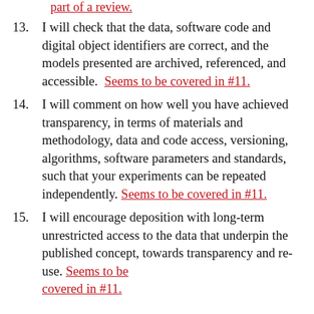part of a review.
13. I will check that the data, software code and digital object identifiers are correct, and the models presented are archived, referenced, and accessible. Seems to be covered in #11.
14. I will comment on how well you have achieved transparency, in terms of materials and methodology, data and code access, versioning, algorithms, software parameters and standards, such that your experiments can be repeated independently. Seems to be covered in #11.
15. I will encourage deposition with long-term unrestricted access to the data that underpin the published concept, towards transparency and re-use. Seems to be covered in #11.